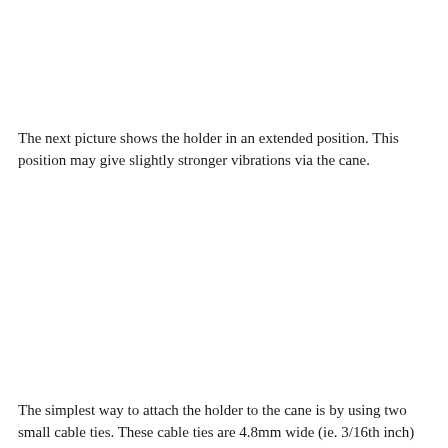The next picture shows the holder in an extended position. This position may give slightly stronger vibrations via the cane.
The simplest way to attach the holder to the cane is by using two small cable ties. These cable ties are 4.8mm wide (ie. 3/16th inch)